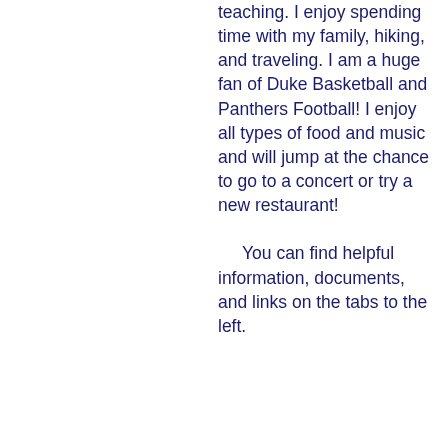teaching. I enjoy spending time with my family, hiking, and traveling. I am a huge fan of Duke Basketball and Panthers Football! I enjoy all types of food and music and will jump at the chance to go to a concert or try a new restaurant!

     You can find helpful information, documents, and links on the tabs to the left.